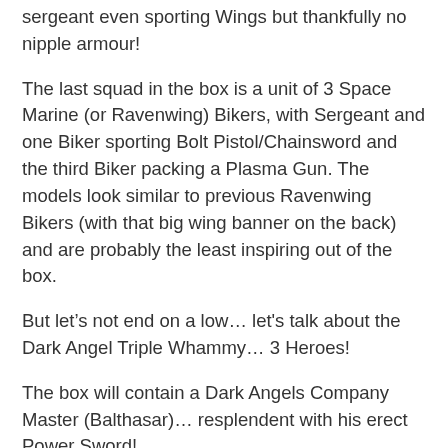sergeant even sporting Wings but thankfully no nipple armour!
The last squad in the box is a unit of 3 Space Marine (or Ravenwing) Bikers, with Sergeant and one Biker sporting Bolt Pistol/Chainsword and the third Biker packing a Plasma Gun. The models look similar to previous Ravenwing Bikers (with that big wing banner on the back) and are probably the least inspiring out of the box.
But let’s not end on a low… let's talk about the Dark Angel Triple Whammy… 3 Heroes!
The box will contain a Dark Angels Company Master (Balthasar)… resplendent with his erect Power Sword!
A Dark Angels Librarian… with a slightly less impressive looking Force Sword… and a limited edition Interrogator Chaplain, who’s Power Armour (including smoking exhaust details) and embellished robe might be the most ostentatious model in the box!